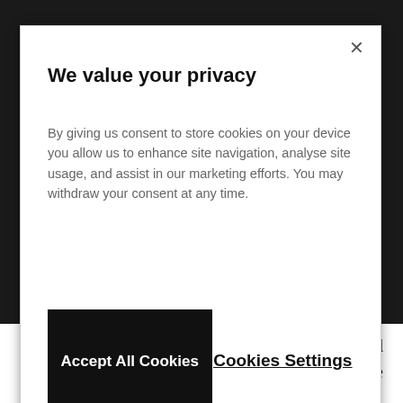We value your privacy
By giving us consent to store cookies on your device you allow us to enhance site navigation, analyse site usage, and assist in our marketing efforts. You may withdraw your consent at any time.
Accept All Cookies
Cookies Settings
Such is the gift of Lance Barresi, the owner and founder of Permanent Records, located in the heart of Echo Park...